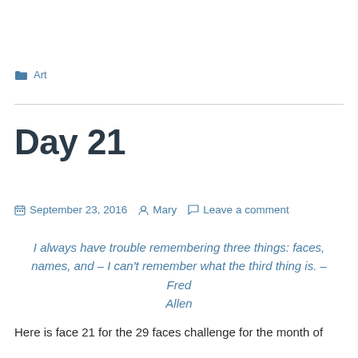Art
Day 21
September 23, 2016  Mary  Leave a comment
I always have trouble remembering three things: faces, names, and – I can't remember what the third thing is. – Fred Allen
Here is face 21 for the 29 faces challenge for the month of